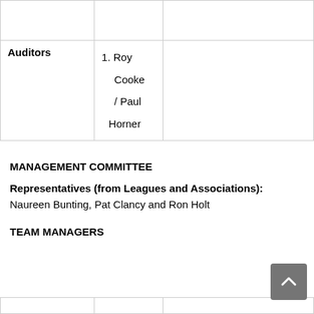|  |  |  |
| --- | --- | --- |
|  |  |  |
| Auditors | 1. Roy Cooke / Paul Horner |  |
MANAGEMENT COMMITTEE
Representatives (from Leagues and Associations):
Naureen Bunting, Pat Clancy and Ron Holt
TEAM MANAGERS
|  |  |  |
| --- | --- | --- |
|  |  |  |